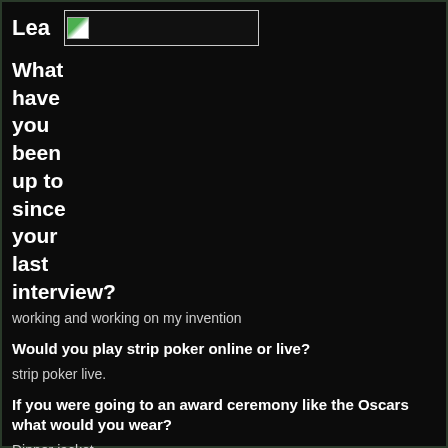Lea
[Figure (photo): Small image placeholder thumbnail in a bordered box next to the name 'Lea']
What have you been up to since your last interview?
working and working on my invention
Would you play strip poker online or live?
strip poker live.
If you were going to an award ceremony like the Oscars what would you wear?
Dinner jacket.
Are you planning a holiday this year if so where?